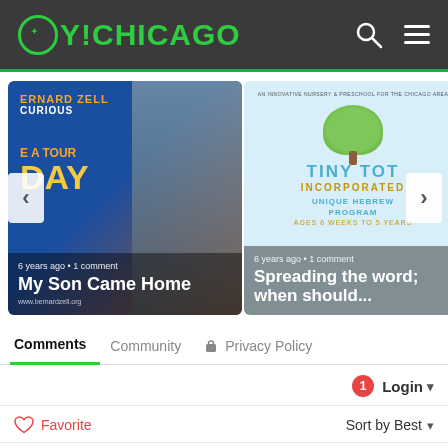OY!CHICAGO
[Figure (screenshot): Carousel showing two article cards: 'My Son Came Home' (6 years ago, 1 comment) from Bernard Zell school, and 'Spreading the word; when should...' (6 years ago, 1 comment) from Tiny Tot Incorporated preschool. Navigation arrows on left and right.]
Comments   Community   Privacy Policy
1   Login
Favorite   Sort by Best
Start the discussion